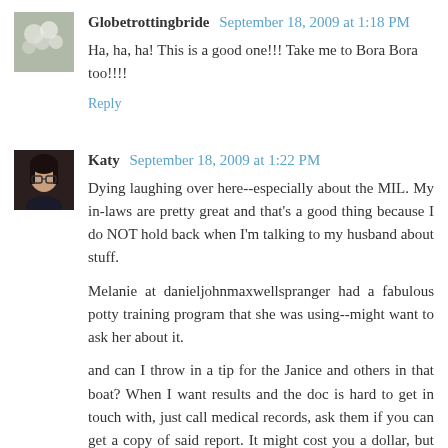Globetrottingbride September 18, 2009 at 1:18 PM
Ha, ha, ha! This is a good one!!! Take me to Bora Bora too!!!!
Reply
Katy September 18, 2009 at 1:22 PM
Dying laughing over here--especially about the MIL. My in-laws are pretty great and that's a good thing because I do NOT hold back when I'm talking to my husband about stuff.
Melanie at danieljohnmaxwellspranger had a fabulous potty training program that she was using--might want to ask her about it.
and can I throw in a tip for the Janice and others in that boat? When I want results and the doc is hard to get in touch with, just call medical records, ask them if you can get a copy of said report. It might cost you a dollar, but then you'll have those answers you want. I'm not ashamed to